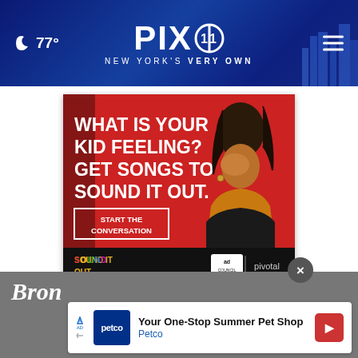PIX 11 - New York's Very Own — 77°
[Figure (photo): Advertisement: 'What is your kid feeling? Get songs to sound it out. Start the conversation.' — Sound It Out campaign by Ad Council and Pivotal. Features a young girl covering one eye with her hand against a red background.]
Bron
[Figure (photo): Petco advertisement banner: 'Your One-Stop Summer Pet Shop — Petco']